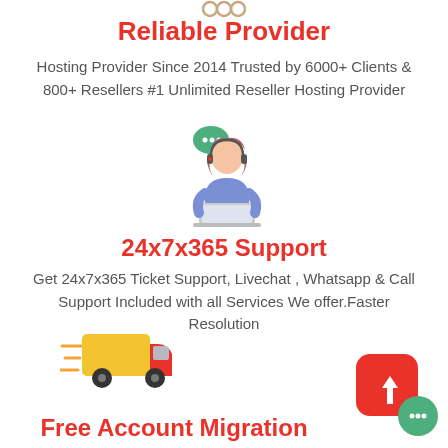[Figure (illustration): Small decorative icon at top center]
Reliable Provider
Hosting Provider Since 2014 Trusted by 6000+ Clients & 800+ Resellers #1 Unlimited Reseller Hosting Provider
[Figure (illustration): Customer support agent illustration: woman with headset at laptop, green speech bubble above]
24x7x365 Support
Get 24x7x365 Ticket Support, Livechat , Whatsapp & Call Support Included with all Services We offer.Faster Resolution
[Figure (illustration): Fast delivery truck icon (yellow truck with red cab, speed lines) at bottom left]
[Figure (illustration): Red rounded square with white upload arrow icon and green chat bubble at bottom right]
Free Account Migration